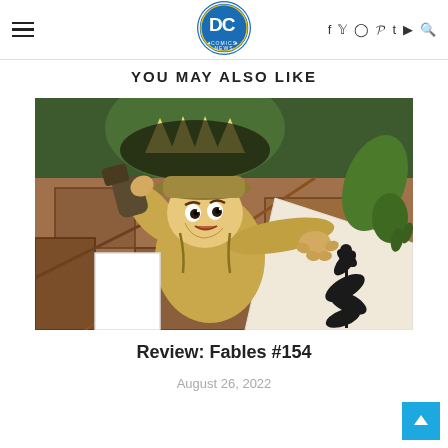DC Comics News — site header with hamburger menu, logo, social icons (f, twitter, instagram, pinterest, t, youtube, search)
YOU MAY ALSO LIKE
[Figure (illustration): Comic book cover art for Fables #154 showing a young boy in a khaki outfit and safari hat surrounded by wooden crates and debris, with a large green monster with jagged teeth looming above, and a decorative floral silhouette panel visible on the lower right]
Review: Fables #154
August 26, 2022